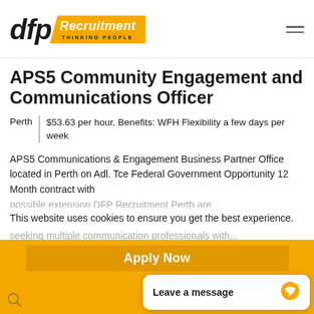[Figure (logo): DFP Recruitment logo with orange badge and 'THINKING PEOPLE' tagline]
APS5 Community Engagement and Communications Officer
Perth | $53.63 per hour, Benefits: WFH Flexibility a few days per week
APS5 Communications & Engagement Business Partner Office located in Perth on Adl. Tce Federal Government Opportunity 12 Month contract with possible extension DFP Recruitment Perth are seeking multiple communication professionals with...
This website uses cookies to ensure you get the best experience.
Apply Now
Got it!
Leave a message